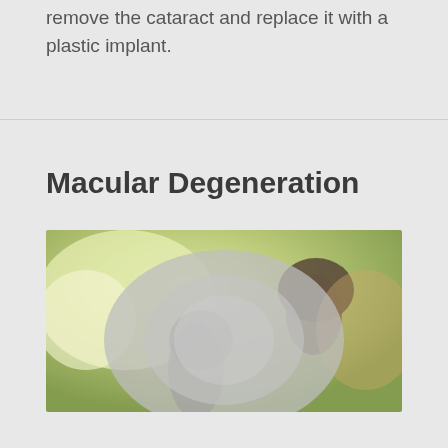remove the cataract and replace it with a plastic implant.
Macular Degeneration
[Figure (photo): Blurred outdoor photo showing two people, simulating vision loss from macular degeneration. The center of the image is heavily blurred with gray, while the periphery shows green foliage and warm tones. One person appears to be wearing a dark hat.]